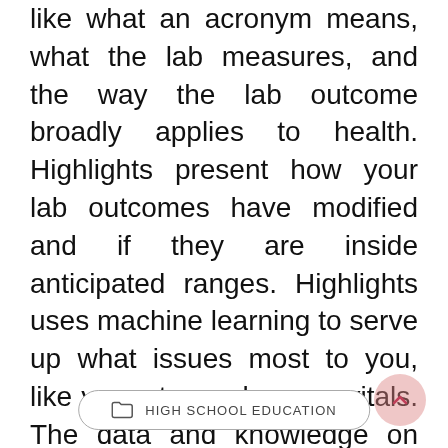like what an acronym means, what the lab measures, and the way the lab outcome broadly applies to health. Highlights present how your lab outcomes have modified and if they are inside anticipated ranges. Highlights uses machine learning to serve up what issues most to you, like your steps, sleep, or vitals. The data and knowledge on this website is topic to change with out notice. The Government of South Australia may revise this disclaimer at any time by updating this posting.
HIGH SCHOOL EDUCATION